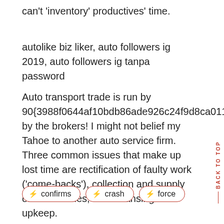can't 'inventory' productives' time.
autolike biz liker, auto followers ig 2019, auto followers ig tanpa password
Auto transport trade is run by 90{3988f0644af10bdb86ade926c24f9d8ca011ecfb017d7721b8530af7bf38863d} by the brokers! I might not belief my Tahoe to another auto service firm. Three common issues that make up lost time are rectification of faulty work ('come-backs'), collection and supply of automobiles, and cleansing and upkeep.
⚡ confirms
⚡ crash
⚡ force